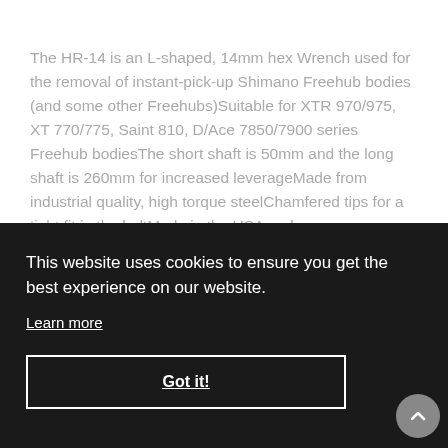The HR-14 is an L-shaped, 14mm hex Wrench used for the removal of instant-pick-up Shimano Freehub bodies (and some other Freehubs)Suitable for XTR 970/975, XT 770/775, Saint 810, D/Ace 7850/7900 series Freehub bodiesThe short shaft is 50mm and the long shaft is 260mm for increased leverageMade from industrial quality, high torque steelChamfered tips for a tight fit in the boltMade in the USA and
This website uses cookies to ensure you get the best experience on our website.
Learn more
Got it!